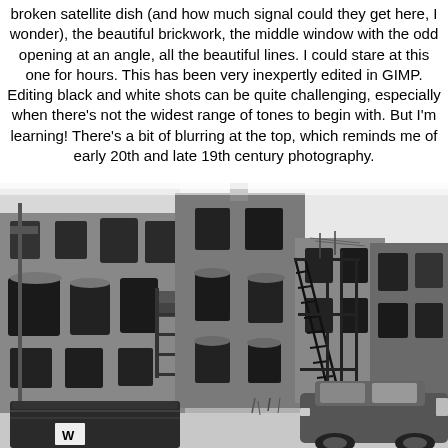broken satellite dish (and how much signal could they get here, I wonder), the beautiful brickwork, the middle window with the odd opening at an angle, all the beautiful lines. I could stare at this one for hours. This has been very inexpertly edited in GIMP. Editing black and white shots can be quite challenging, especially when there's not the widest range of tones to begin with. But I'm learning! There's a bit of blurring at the top, which reminds me of early 20th and late 19th century photography.
[Figure (photo): Black and white photograph of old brick industrial buildings with fire escapes, arched windows, a dumpster in the foreground, and a car parked on the right side.]